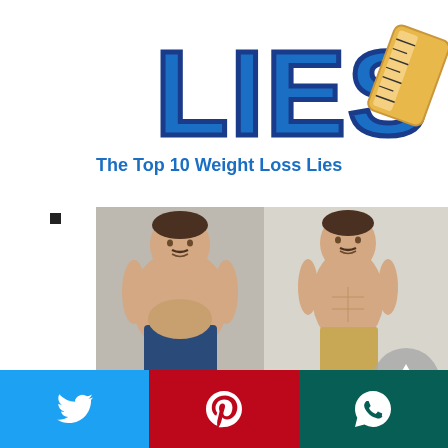[Figure (illustration): Stylized 'LIES' text logo with blue bubble letters and a measuring tape graphic]
The Top 10 Weight Loss Lies
[Figure (photo): Side-by-side before and after weight loss transformation photos of a man, shirtless, before in jeans then after in khaki shorts showing visible muscle definition]
Weight Loss Motivation
[Figure (other): Gray circular scroll-to-top button with upward triangle arrow icon]
[Figure (other): Social sharing bar with Twitter (blue), Pinterest (red), and WhatsApp (dark green) buttons]